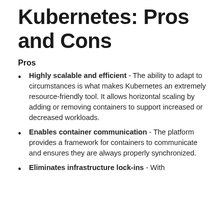Kubernetes: Pros and Cons
Pros
Highly scalable and efficient - The ability to adapt to circumstances is what makes Kubernetes an extremely resource-friendly tool. It allows horizontal scaling by adding or removing containers to support increased or decreased workloads.
Enables container communication - The platform provides a framework for containers to communicate and ensures they are always properly synchronized.
Eliminates infrastructure lock-ins - With